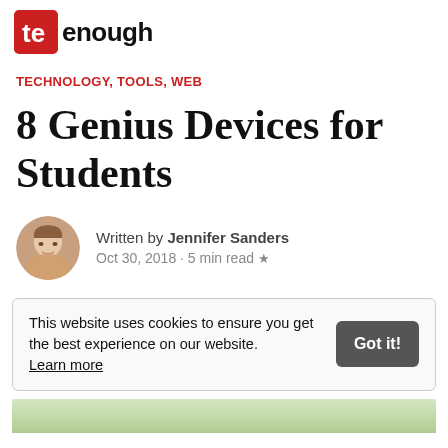Truly Enough
TECHNOLOGY, TOOLS, WEB
8 Genius Devices for Students
Written by Jennifer Sanders
Oct 30, 2018 · 5 min read ★
This website uses cookies to ensure you get the best experience on our website. Learn more
Got it!